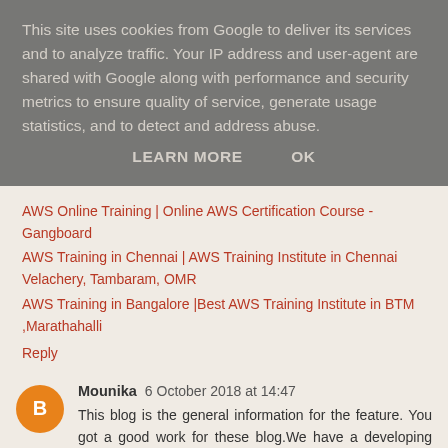This site uses cookies from Google to deliver its services and to analyze traffic. Your IP address and user-agent are shared with Google along with performance and security metrics to ensure quality of service, generate usage statistics, and to detect and address abuse.
LEARN MORE   OK
AWS Online Training | Online AWS Certification Course - Gangboard
AWS Training in Chennai | AWS Training Institute in Chennai Velachery, Tambaram, OMR
AWS Training in Bangalore |Best AWS Training Institute in BTM ,Marathahalli
Reply
Mounika 6 October 2018 at 14:47
This blog is the general information for the feature. You got a good work for these blog.We have a developing our creative content of this mind.Thank you for this blog. This